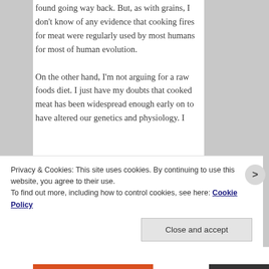found going way back. But, as with grains, I don't know of any evidence that cooking fires for meat were regularly used by most humans for most of human evolution.

On the other hand, I'm not arguing for a raw foods diet. I just have my doubts that cooked meat has been widespread enough early on to have altered our genetics and physiology. I
Privacy & Cookies: This site uses cookies. By continuing to use this website, you agree to their use.
To find out more, including how to control cookies, see here: Cookie Policy
Close and accept